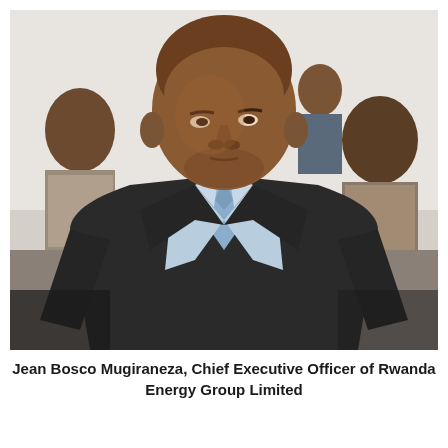[Figure (photo): Portrait photo of Jean Bosco Mugiraneza, a man in a dark suit with a blue tie and light blue dress shirt, seated and looking to his right. Several people are visible in the background in an indoor setting.]
Jean Bosco Mugiraneza, Chief Executive Officer of Rwanda Energy Group Limited